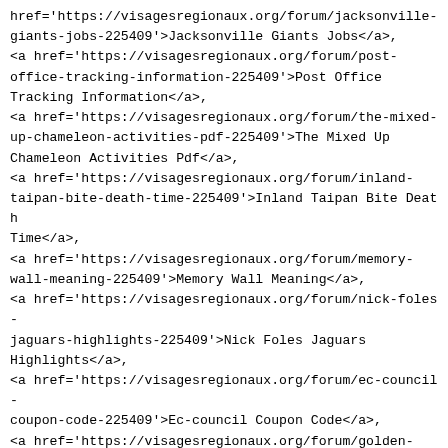href='https://visagesregionaux.org/forum/jacksonville-giants-jobs-225409'>Jacksonville Giants Jobs</a>,
<a href='https://visagesregionaux.org/forum/post-office-tracking-information-225409'>Post Office Tracking Information</a>,
<a href='https://visagesregionaux.org/forum/the-mixed-up-chameleon-activities-pdf-225409'>The Mixed Up Chameleon Activities Pdf</a>,
<a href='https://visagesregionaux.org/forum/inland-taipan-bite-death-time-225409'>Inland Taipan Bite Death Time</a>,
<a href='https://visagesregionaux.org/forum/memory-wall-meaning-225409'>Memory Wall Meaning</a>,
<a href='https://visagesregionaux.org/forum/nick-foles-jaguars-highlights-225409'>Nick Foles Jaguars Highlights</a>,
<a href='https://visagesregionaux.org/forum/ec-council-coupon-code-225409'>Ec-council Coupon Code</a>,
<a href='https://visagesregionaux.org/forum/golden-shepherd-mix-225409'>Golden Shepherd Mix</a>,
<a href='https://visagesregionaux.org/forum/globe-and-mail-login-225409'>Globe And Mail Login</a>,
<a href='https://visagesregionaux.org/forum/michele-knight-2020-225409'>Michele Knight 2020</a>,
<a href='https://visagesregionaux.org/forum/wonderland-festival-indoor-225409'>Wonderland Festival Indoor</a>,
<a href='https://visagesregionaux.org/forum/belted-kingfisher-size-225409'>Belted Kingfisher Size</a>,
<a href='https://visagesregionaux.org/forum/bossypants-meaning-225409'>Bossypants Meaning</a>,